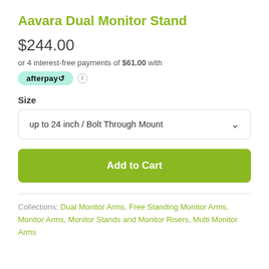Aavara Dual Monitor Stand
$244.00
or 4 interest-free payments of $61.00 with afterpay
Size
up to 24 inch / Bolt Through Mount
Add to Cart
Collections: Dual Monitor Arms, Free Standing Monitor Arms, Monitor Arms, Monitor Stands and Monitor Risers, Multi Monitor Arms